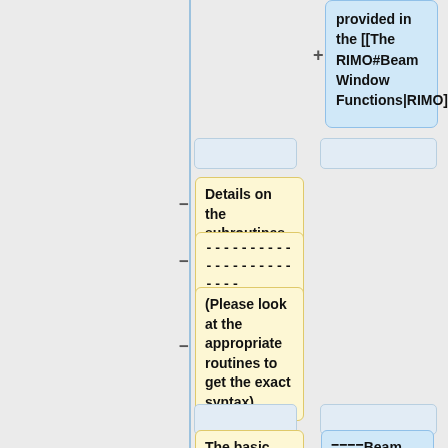provided in the [[The RIMO#Beam Window Functions|RIMO]].
Details on the subroutines
------------------------
--
(Please look at the appropriate routines to get the exact syntax)
The basic
====Beam